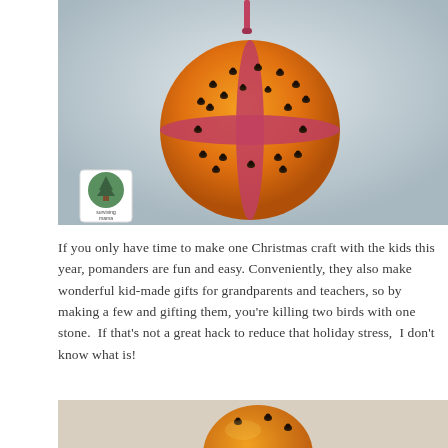[Figure (photo): A pomander ball — an orange studded with whole cloves, wrapped with a dark red/pink ribbon — hanging against a blurred grey outdoor background. A small circular logo watermark in the lower-left of the photo reads 'Surviving Mama'.]
If you only have time to make one Christmas craft with the kids this year, pomanders are fun and easy. Conveniently, they also make wonderful kid-made gifts for grandparents and teachers, so by making a few and gifting them, you're killing two birds with one stone.  If that's not a great hack to reduce that holiday stress,  I don't know what is!
[Figure (photo): A partial view of an orange pomander with cloves on a light-colored surface, cropped at the bottom of the page.]